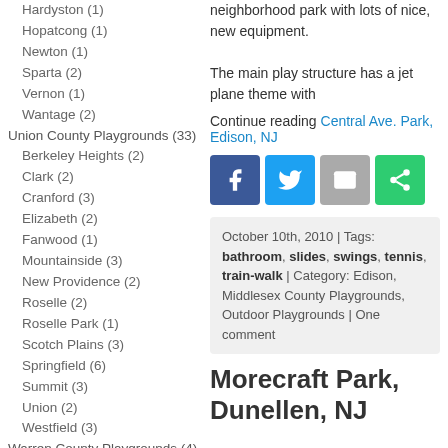Hardyston (1)
Hopatcong (1)
Newton (1)
Sparta (2)
Vernon (1)
Wantage (2)
Union County Playgrounds (33)
Berkeley Heights (2)
Clark (2)
Cranford (3)
Elizabeth (2)
Fanwood (1)
Mountainside (3)
New Providence (2)
Roselle (2)
Roselle Park (1)
Scotch Plains (3)
Springfield (6)
Summit (3)
Union (2)
Westfield (3)
Warren County Playgrounds (4)
Blairstown (1)
Hackettstown (1)
Independence (1)
neighborhood park with lots of nice, new equipment.

The main play structure has a jet plane theme with
Continue reading Central Ave. Park, Edison, NJ
[Figure (infographic): Social share buttons: Facebook (blue), Twitter (cyan), Email (gray), Share (green)]
October 10th, 2010 | Tags: bathroom, slides, swings, tennis, train-walk | Category: Edison, Middlesex County Playgrounds, Outdoor Playgrounds | One comment
Morecraft Park, Dunellen, NJ